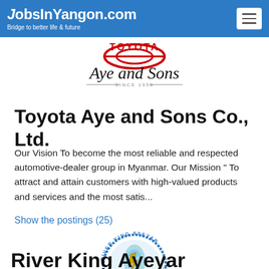JobsInYangon.com — Bridge to better life & future
[Figure (logo): Toyota Aye and Sons logo with cursive text and 'Since 1958' tagline]
Toyota Aye and Sons Co., Ltd.
Our Vision To become the most reliable and respected automotive-dealer group in Myanmar. Our Mission " To attract and attain customers with high-valued products and services and the most satis...
Show the postings (25)
[Figure (logo): River King Ayeyar Construction Company Limited circular logo with bird silhouette in blue and gold]
River King Ayeyar Construction